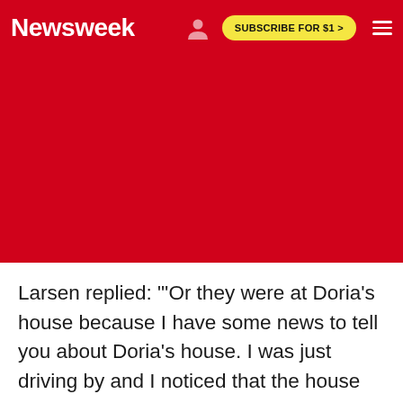Newsweek  SUBSCRIBE FOR $1 >
[Figure (other): Red background area below the Newsweek navigation header, likely an advertisement or image placeholder area colored red.]
Larsen replied: "'Or they were at Doria's house because I have some news to tell you about Doria's house. I was just driving by and I noticed that the house next door to Doria was not only for sale for $1.5 million, but they were